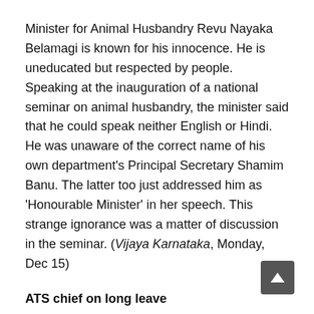Minister for Animal Husbandry Revu Nayaka Belamagi is known for his innocence. He is uneducated but respected by people. Speaking at the inauguration of a national seminar on animal husbandry, the minister said that he could speak neither English or Hindi. He was unaware of the correct name of his own department's Principal Secretary Shamim Banu. The latter too just addressed him as 'Honourable Minister' in her speech. This strange ignorance was a matter of discussion in the seminar. (Vijaya Karnataka, Monday, Dec 15)
ATS chief on long leave
In this critical hour when all states are on high alert due to terrorism, Chief of ATS (Anti Terrorist Squad) Neelam Achyuta Rao has opted to go on a year-end leave the government has sanctioned it too. Rao was appointed to the ATS as he had prior experience so the